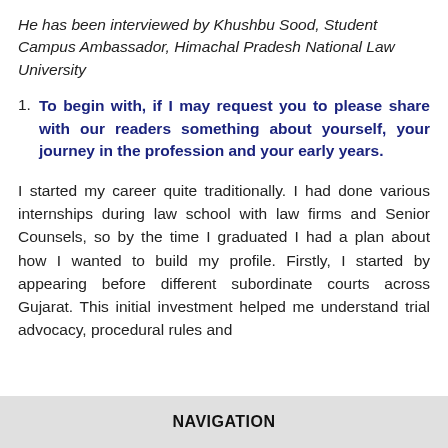He has been interviewed by Khushbu Sood, Student Campus Ambassador, Himachal Pradesh National Law University
To begin with, if I may request you to please share with our readers something about yourself, your journey in the profession and your early years.
I started my career quite traditionally. I had done various internships during law school with law firms and Senior Counsels, so by the time I graduated I had a plan about how I wanted to build my profile. Firstly, I started by appearing before different subordinate courts across Gujarat. This initial investment helped me understand trial advocacy, procedural rules and
NAVIGATION